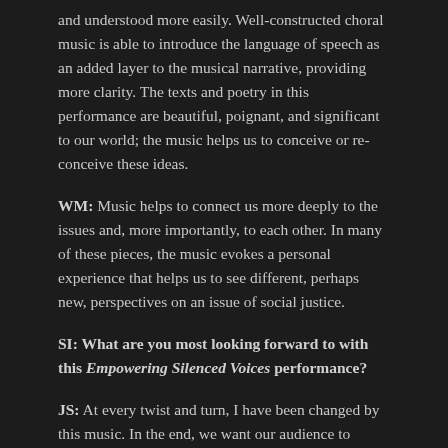and understood more easily. Well-constructed choral music is able to introduce the language of speech as an added layer to the musical narrative, providing more clarity. The texts and poetry in this performance are beautiful, poignant, and significant to our world; the music helps us to conceive or re-conceive these ideas.
WM: Music helps to connect us more deeply to the issues and, more importantly, to each other. In many of these pieces, the music evokes a personal experience that helps us to see different, perhaps new, perspectives on an issue of social justice.
SI: What are you most looking forward to with this Empowering Silenced Voices performance?
JS: At every twist and turn, I have been changed by this music. In the end, we want our audience to experience the voices of those who have been killed, silenced, or covered up. This concert is about advocacy, and we want people's hearts to change. We are all guilty of silencing